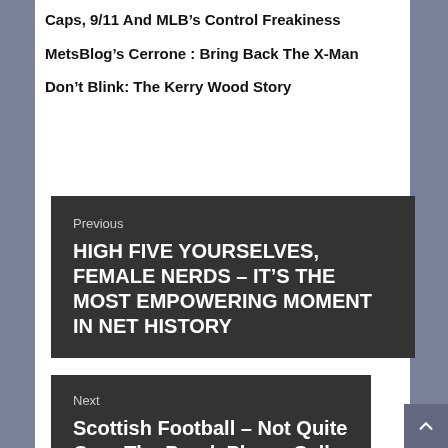Caps, 9/11 And MLB's Control Freakiness
MetsBlog's Cerrone : Bring Back The X-Man
Don't Blink: The Kerry Wood Story
Previous
HIGH FIVE YOURSELVES, FEMALE NERDS – IT'S THE MOST EMPOWERING MOMENT IN NET HISTORY
Next
Scottish Football – Not Quite Over The Prank Phone Call Craze